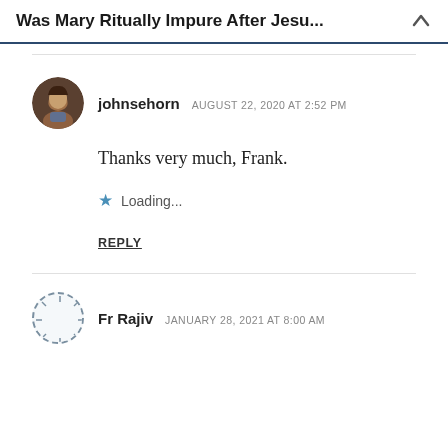Was Mary Ritually Impure After Jesu...
johnsehorn AUGUST 22, 2020 AT 2:52 PM
Thanks very much, Frank.
Loading...
REPLY
Fr Rajiv JANUARY 28, 2021 AT 8:00 AM